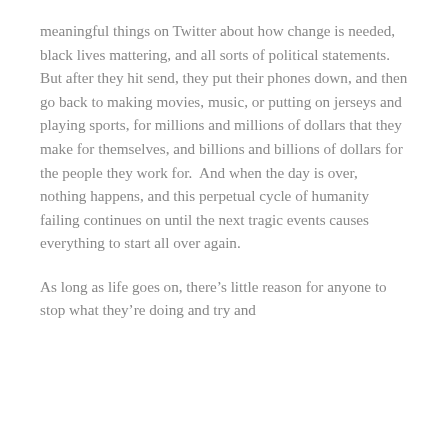meaningful things on Twitter about how change is needed, black lives mattering, and all sorts of political statements.  But after they hit send, they put their phones down, and then go back to making movies, music, or putting on jerseys and playing sports, for millions and millions of dollars that they make for themselves, and billions and billions of dollars for the people they work for.  And when the day is over, nothing happens, and this perpetual cycle of humanity failing continues on until the next tragic events causes everything to start all over again.
As long as life goes on, there’s little reason for anyone to stop what they’re doing and try and